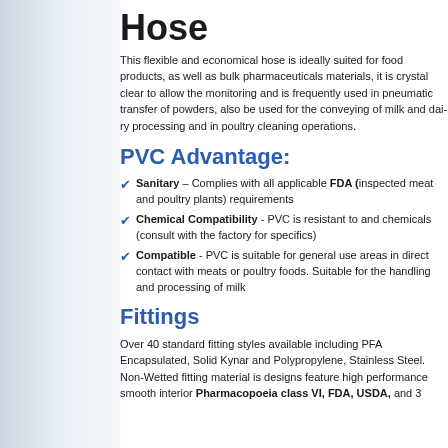Hose
This flexible and economical hose is ideally suited for food products, as well as bulk pharmaceuticals materials, it is crystal clear to allow the monitoring and is frequently used in pneumatic transfer of powders, also be used for the conveying of milk and dairy processing and in poultry cleaning operations.
PVC Advantage:
Sanitary – Complies with all applicable FDA (inspected meat and poultry plants) requirements
Chemical Compatibility - PVC is resistant to and chemicals (consult with the factory for specifics)
Compatible - PVC is suitable for general use areas in direct contact with meats or poultry foods. Suitable for the handling and processing of milk
Fittings
Over 40 standard fitting styles available including PFA Encapsulated, Solid Kynar and Polypropylene, Stainless Steel. Non-Wetted fitting material is designs feature high performance smooth interior Pharmacopoeia class VI, FDA, USDA, and 3